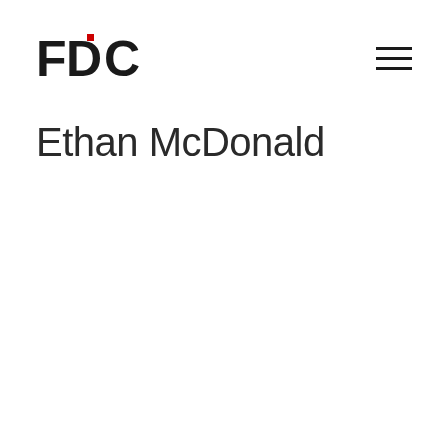[Figure (logo): FDC logo with red square dot above the letter D, bold black letters F D C]
[Figure (other): Hamburger menu icon — three horizontal black lines]
Ethan McDonald